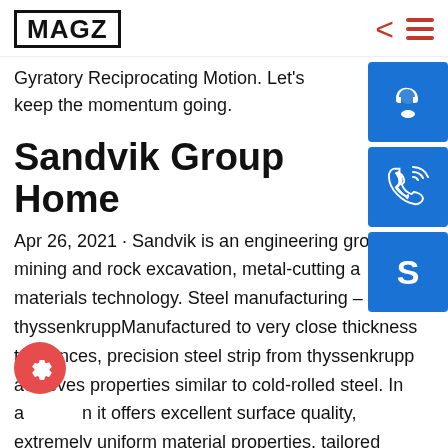MAGZ
Gyratory Reciprocating Motion. Let's keep the momentum going.
Sandvik Group Home
Apr 26, 2021 · Sandvik is an engineering group focused on mining and rock excavation, metal-cutting and materials technology. Steel manufacturing – thyssenkruppManufactured to very close thickness tolerances, precision steel strip from thyssenkrupp achieves properties similar to cold-rolled steel. In addition it offers excellent surface quality, extremely uniform material properties, tailored